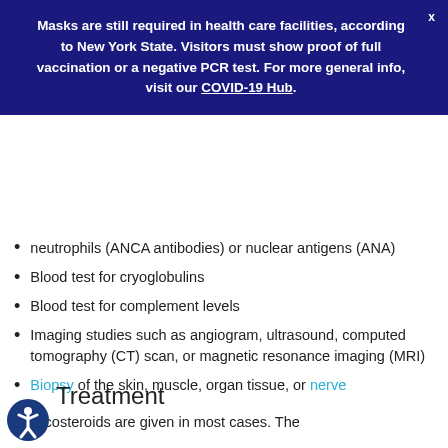Masks are still required in health care facilities, according to New York State. Visitors must show proof of full vaccination or a negative PCR test. For more general info, visit our COVID-19 Hub.
neutrophils (ANCA antibodies) or nuclear antigens (ANA)
Blood test for cryoglobulins
Blood test for complement levels
Imaging studies such as angiogram, ultrasound, computed tomography (CT) scan, or magnetic resonance imaging (MRI)
Biopsy of the skin, muscle, organ tissue, or nerve
Treatment
Corticosteroids are given in most cases. The